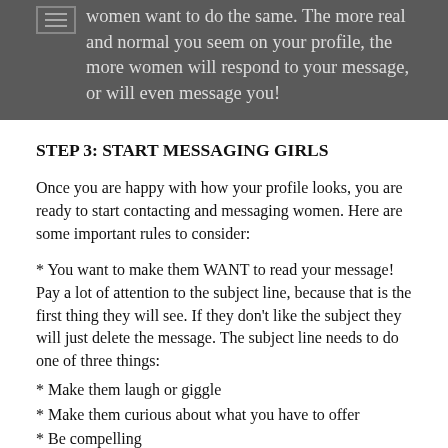women want to do the same. The more real and normal you seem on your profile, the more women will respond to your message, or will even message you!
STEP 3: START MESSAGING GIRLS
Once you are happy with how your profile looks, you are ready to start contacting and messaging women. Here are some important rules to consider:
* You want to make them WANT to read your message! Pay a lot of attention to the subject line, because that is the first thing they will see. If they don't like the subject they will just delete the message. The subject line needs to do one of three things:
* Make them laugh or giggle
* Make them curious about what you have to offer
* Be compelling